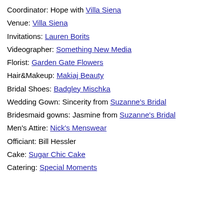Coordinator: Hope with Villa Siena
Venue: Villa Siena
Invitations: Lauren Borits
Videographer: Something New Media
Florist: Garden Gate Flowers
Hair&Makeup: Makiaj Beauty
Bridal Shoes: Badgley Mischka
Wedding Gown: Sincerity from Suzanne's Bridal
Bridesmaid gowns: Jasmine from Suzanne's Bridal
Men's Attire: Nick's Menswear
Officiant: Bill Hessler
Cake: Sugar Chic Cake
Catering: Special Moments